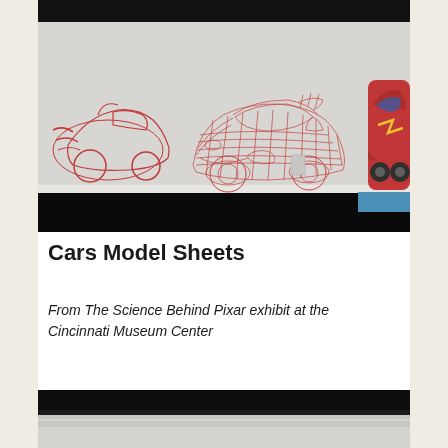[Figure (photo): Exhibition photo showing Cars model sheets on a white wall: left side has a red outline sketch of a race car, center shows a full red wireframe/mesh model of Lightning McQueen, right edge shows a physical toy/model of Lightning McQueen in red. A dark display case or counter is visible at the bottom.]
Cars Model Sheets
From The Science Behind Pixar exhibit at the Cincinnati Museum Center
[Figure (photo): Partial photo of exhibit display showing dark black surface/counter with slight reflection, white wall visible behind.]